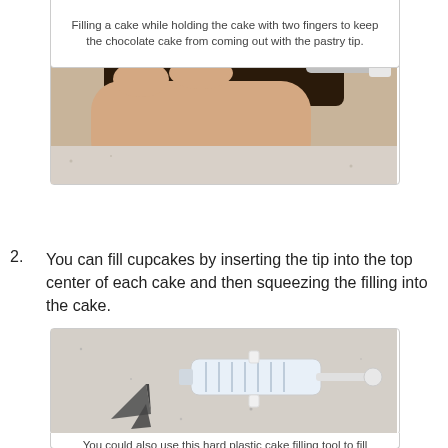[Figure (photo): A hand holding a chocolate cupcake/cake being filled with a pastry tip/nozzle inserted into it.]
Filling a cake while holding the cake with two fingers to keep the chocolate cake from coming out with the pastry tip.
2. You can fill cupcakes by inserting the tip into the top center of each cake and then squeezing the filling into the cake.
[Figure (photo): A hard plastic cake filling tool (syringe-style) shown next to two metal pastry tips on a speckled surface.]
You could also use this hard plastic cake filling tool to fill cupcakes or to fill the canoe cakes with the 3 hole method.
3. Place the filling...